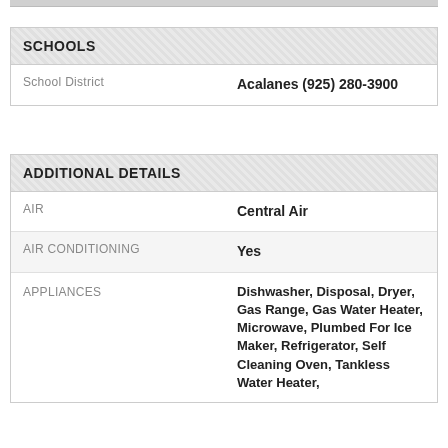|  |  |
| --- | --- |
| SCHOOLS |  |
| School District | Acalanes (925) 280-3900 |
|  |  |
| --- | --- |
| ADDITIONAL DETAILS |  |
| AIR | Central Air |
| AIR CONDITIONING | Yes |
| APPLIANCES | Dishwasher, Disposal, Dryer, Gas Range, Gas Water Heater, Microwave, Plumbed For Ice Maker, Refrigerator, Self Cleaning Oven, Tankless Water Heater, |